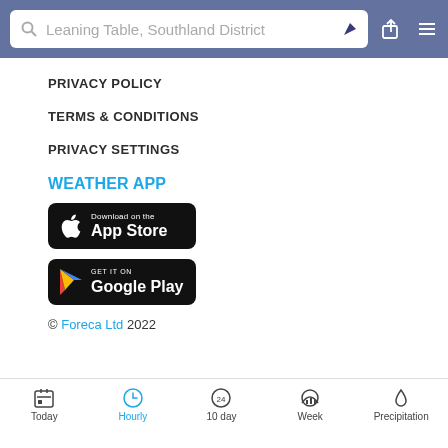Leaning Table, Southland District
PRIVACY POLICY
TERMS & CONDITIONS
PRIVACY SETTINGS
WEATHER APP
[Figure (screenshot): Download on the App Store badge (black rounded rectangle)]
[Figure (screenshot): Get it on Google Play badge (black rounded rectangle)]
© Foreca Ltd 2022
Today  Hourly  10 day  Week  Precipitation